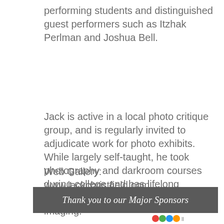performing students and distinguished guest performers such as Itzhak Perlman and Joshua Bell.
Jack is active in a local photo critique group, and is regularly invited to adjudicate work for photo exhibits. While largely self-taught, he took photography and darkroom courses during college and has lifelong experience with film, print, and digital imaging.
Web Gallery:
www.jackchristfield.com
Thank you to our Major Sponsors